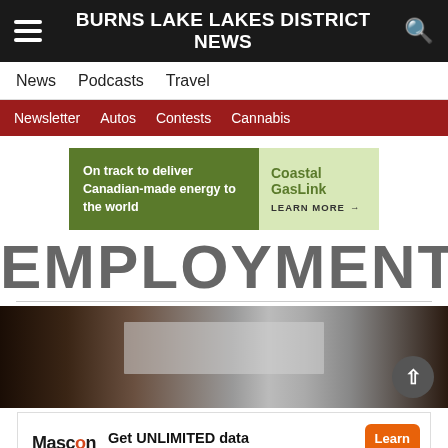BURNS LAKE LAKES DISTRICT NEWS
News  Podcasts  Travel
Newsletter  Autos  Contests  Cannabis
[Figure (infographic): Coastal GasLink advertisement banner. Left green panel: 'On track to deliver Canadian-made energy to the world'. Right light-green panel: 'Coastal GasLink LEARN MORE →']
EMPLOYMENT
[Figure (photo): Blurry dark interior photo with a light-colored reflective surface visible in the center]
[Figure (infographic): Mascon by TELUS advertisement: 'Get UNLIMITED data and save up to $410!*' with orange 'Learn More' button]